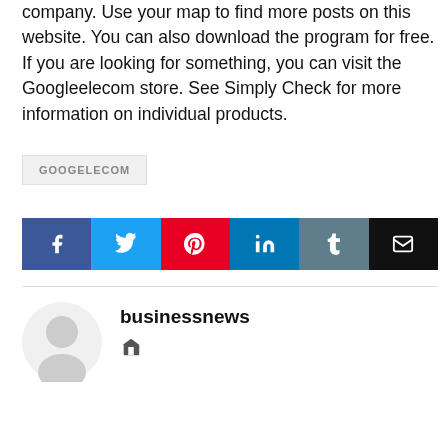company. Use your map to find more posts on this website. You can also download the program for free. If you are looking for something, you can visit the Googleelecom store. See Simply Check for more information on individual products.
GOOGELECOM
[Figure (other): Social sharing buttons: Facebook, Twitter, Pinterest, LinkedIn, Tumblr, Email]
businessnews
[Figure (other): Home icon link for businessnews author]